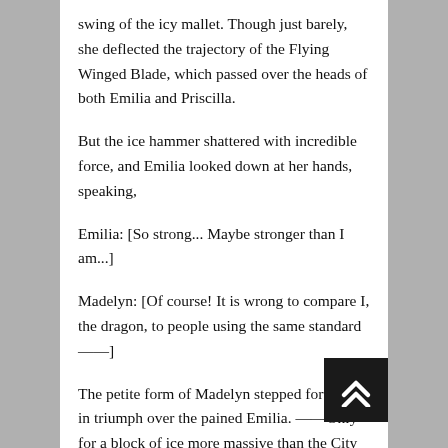swing of the icy mallet. Though just barely, she deflected the trajectory of the Flying Winged Blade, which passed over the heads of both Emilia and Priscilla.
But the ice hammer shattered with incredible force, and Emilia looked down at her hands, speaking,
Emilia: [So strong... Maybe stronger than I am...]
Madelyn: [Of course! It is wrong to compare I, the dragon, to people using the same standard——]
The petite form of Madelyn stepped forward in triumph over the pained Emilia. ——Only for a block of ice more massive than the City Hall to come crashing down on Madelyn's head.